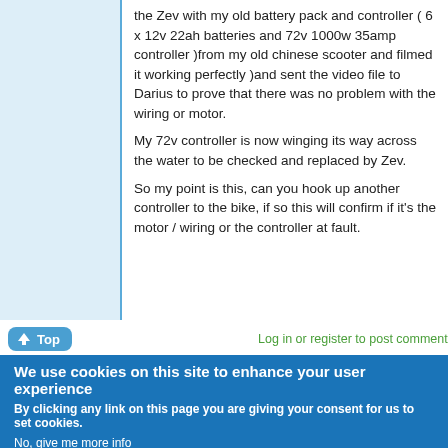the Zev with my old battery pack and controller ( 6 x 12v 22ah batteries and 72v 1000w 35amp controller )from my old chinese scooter and filmed it working perfectly )and sent the video file to Darius to prove that there was no problem with the wiring or motor.
My 72v controller is now winging its way across the water to be checked and replaced by Zev.
So my point is this, can you hook up another controller to the bike, if so this will confirm if it's the motor / wiring or the controller at fault.
Top
Log in or register to post comments
We use cookies on this site to enhance your user experience
By clicking any link on this page you are giving your consent for us to set cookies.
No, give me more info
OK, I agree